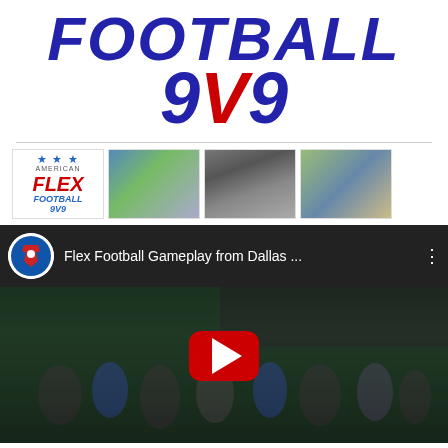FOOTBALL 9V9
[Figure (logo): American Flex Football 9V9 logo thumbnail and three football action photo thumbnails]
[Figure (screenshot): YouTube video embed showing 'Flex Football Gameplay from Dallas ...' with play button overlay on football gameplay footage]